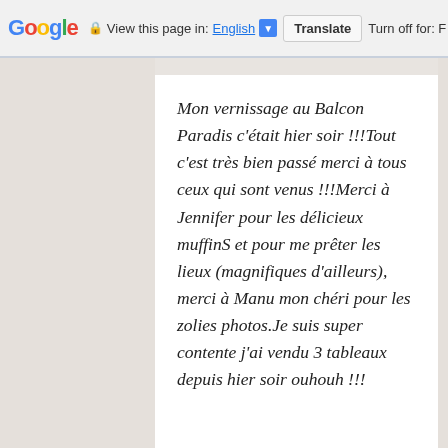Google  View this page in: English ▼  Translate  Turn off for: F
Mon vernissage au Balcon Paradis c'était hier soir !!!Tout c'est très bien passé merci à tous ceux qui sont venus !!!Merci à Jennifer pour les délicieux muffinS et pour me prêter les lieux (magnifiques d'ailleurs), merci à Manu mon chéri pour les zolies photos.Je suis super contente j'ai vendu 3 tableaux depuis hier soir ouhouh !!!
READ MORE